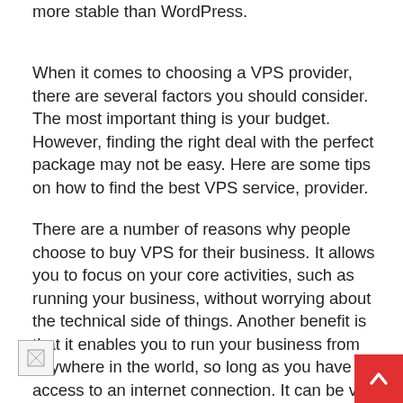more stable than WordPress.
When it comes to choosing a VPS provider, there are several factors you should consider. The most important thing is your budget. However, finding the right deal with the perfect package may not be easy. Here are some tips on how to find the best VPS service, provider.
There are a number of reasons why people choose to buy VPS for their business. It allows you to focus on your core activities, such as running your business, without worrying about the technical side of things. Another benefit is that it enables you to run your business from anywhere in the world, so long as you have access to an internet connection. It can be very time-consuming and expensive to mainta
[Figure (other): Small broken image placeholder icon in bottom left corner]
[Figure (other): Red scroll-to-top button with upward chevron arrow in bottom right corner]